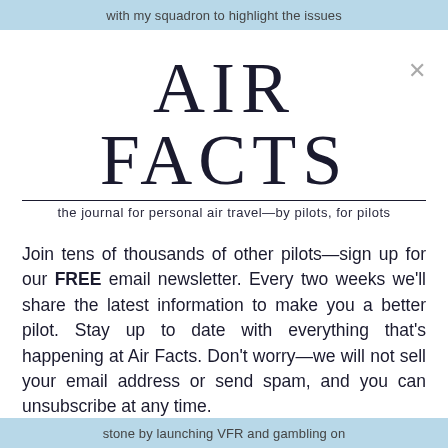with my squadron to highlight the issues
AIR FACTS
the journal for personal air travel—by pilots, for pilots
Join tens of thousands of other pilots—sign up for our FREE email newsletter. Every two weeks we'll share the latest information to make you a better pilot. Stay up to date with everything that's happening at Air Facts. Don't worry—we will not sell your email address or send spam, and you can unsubscribe at any time.
Email Address  [Enter your email]  Sign Up
stone by launching VFR and gambling on